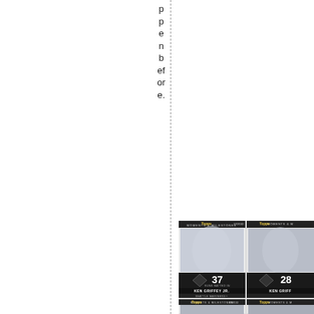p
p
e
n
b
ef
or
e.
[Figure (photo): Four Topps Moments & Milestones baseball trading cards featuring Ken Griffey Jr. of the Seattle Mariners. Top-left card shows Griffey batting, numbered 120/150, with '37 Runs Batted In' stat. Top-right card shows Griffey, partially visible, with '28' stat. Bottom-left card numbered 098/150. Bottom-right card also partially visible. All cards are from the Topps Moments & Milestones series.]